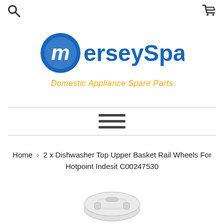MerseySpares - Domestic Appliance Spare Parts
[Figure (logo): MerseySpares logo with blue circular M icon and blue text 'MerseySpares', subtitle 'Domestic Appliance Spare Parts' in orange italic]
[Figure (other): Hamburger menu icon with three horizontal lines]
Home › 2 x Dishwasher Top Upper Basket Rail Wheels For Hotpoint Indesit C00247530
[Figure (photo): Partial view of white dishwasher basket rail wheel product]